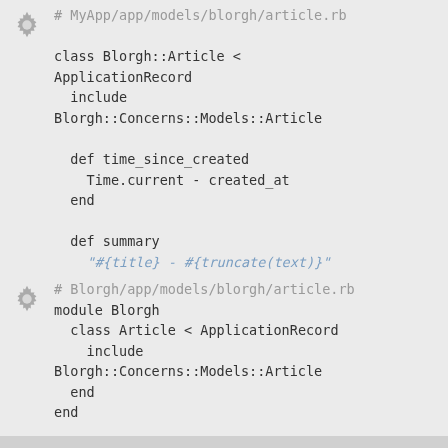[Figure (screenshot): Code block 1: Ruby file MyApp/app/models/blorgh/article.rb showing class Blorgh::Article with include and method definitions]
[Figure (screenshot): Code block 2: Ruby file Blorgh/app/models/blorgh/article.rb showing module Blorgh with class Article]